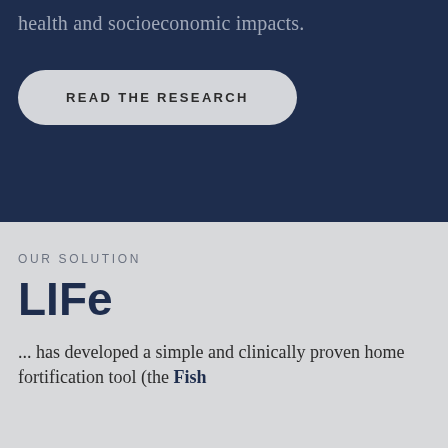health and socioeconomic impacts.
[Figure (other): Button with text READ THE RESEARCH on dark navy background]
OUR SOLUTION
LIFe
... has developed a simple and clinically proven home fortification tool (the Fish